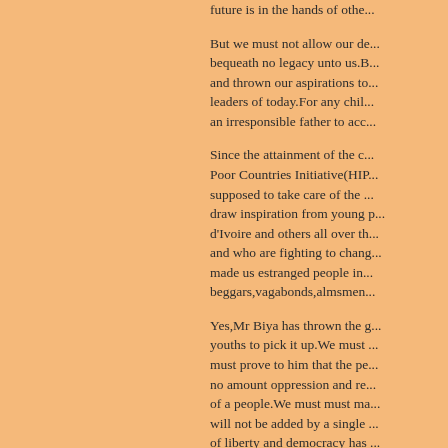future is in the hands of othe...
But we must not allow our de... bequeath no legacy unto us.B... and thrown our aspirations to... leaders of today.For any chil... an irresponsible father to acc...
Since the attainment of the c... Poor Countries Initiative(HIP... supposed to take care of the ... draw inspiration from young p... d'Ivoire and others all over th... and who are fighting to chang... made us estranged people in... beggars,vagabonds,almsmen...
Yes,Mr Biya has thrown the g... youths to pick it up.We must ... must prove to him that the pe... no amount oppression and re... of a people.We must must ma... will not be added by a single ... of liberty and democracy has ... that is determined to protect ...